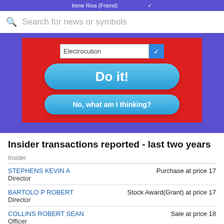[Figure (screenshot): App screenshot with search bar, dropdown 'Electrocution', 'Do it!' button, and 'No, what am I thinking?' button on red background with blue/purple surround]
Insider transactions reported - last two years
Insider
| Insider | Transaction |
| --- | --- |
| STEPHENS KEVIN A
Director | Purchase at price 17 |
| BARTOLO P ROBERT
Director | Stock Award(Grant) at price 17 |
| COLLINS ROBERT SEAN
Officer | Sale at price 18 |
| KAVANAGH MICHAEL JOSEPH
Officer | Sale at price 190.93 - 19 |